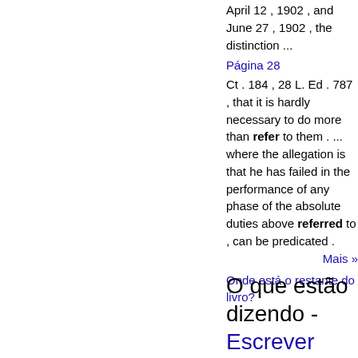April 12 , 1902 , and June 27 , 1902 , the distinction ...
Página 28
Ct . 184 , 28 L. Ed . 787 , that it is hardly necessary to do more than refer to them . ... where the allegation is that he has failed in the performance of any phase of the absolute duties above referred to , can be predicated .
Mais »
Onde está o restante do livro?
O que estão dizendo - Escrever uma resenha